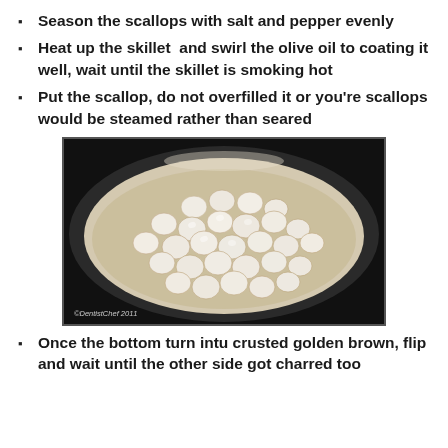Season the scallops with salt and pepper evenly
Heat up the skillet  and swirl the olive oil to coating it well, wait until the skillet is smoking hot
Put the scallop, do not overfilled it or you're scallops would be steamed rather than seared
[Figure (photo): Photo of raw scallops arranged in a white skillet/pan, with oil visible. Watermark reads: ©DentistChef 2011]
Once the bottom turn intu crusted golden brown, flip and wait until the other side got charred too